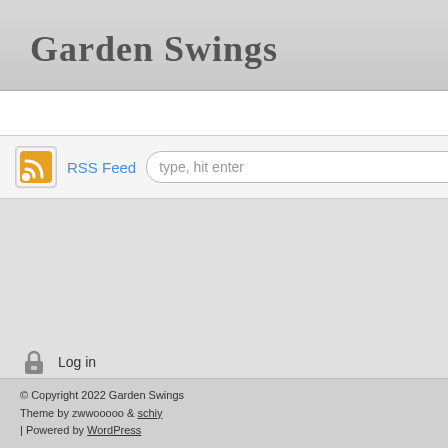Garden Swings
Home
RSS Feed  type, hit enter
Log in
© Copyright 2022 Garden Swings
Theme by zwwooooo & schiy
| Powered by WordPress
rollback
romantic
rose
rubbermaid
russian
rustic
safari
sale
samantha
savage
savannah
schallen
seara
seater
sectional
sedia
semco
serena
sessel
shape
shilpi